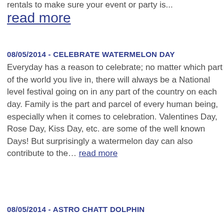rentals to make sure your event or party is... read more
08/05/2014 - CELEBRATE WATERMELON DAY
Everyday has a reason to celebrate; no matter which part of the world you live in, there will always be a National level festival going on in any part of the country on each day. Family is the part and parcel of every human being, especially when it comes to celebration. Valentines Day, Rose Day, Kiss Day, etc. are some of the well known Days! But surprisingly a watermelon day can also contribute to the… read more
08/05/2014 - ASTRO CHATT DOLPHIN